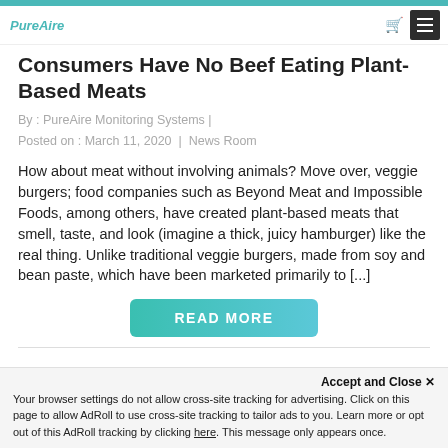Consumers Have No Beef Eating Plant-Based Meats
By : PureAire Monitoring Systems | Posted on : March 11, 2020  |  News Room
How about meat without involving animals? Move over, veggie burgers; food companies such as Beyond Meat and Impossible Foods, among others, have created plant-based meats that smell, taste, and look (imagine a thick, juicy hamburger) like the real thing. Unlike traditional veggie burgers, made from soy and bean paste, which have been marketed primarily to [...]
READ MORE
Accept and Close ✕
Your browser settings do not allow cross-site tracking for advertising. Click on this page to allow AdRoll to use cross-site tracking to tailor ads to you. Learn more or opt out of this AdRoll tracking by clicking here. This message only appears once.